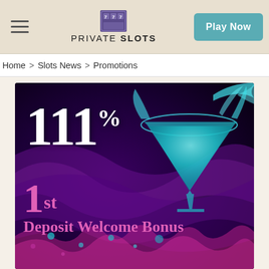PRIVATE SLOTS — Play Now
Home > Slots News > Promotions
[Figure (illustration): Casino promotion banner showing 111% 1st Deposit Welcome Bonus with a teal martini glass and colorful liquid splashes on a dark purple background]